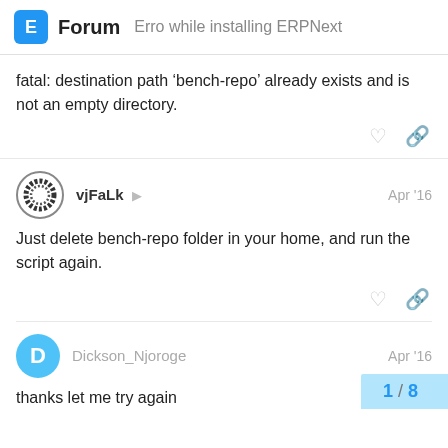Forum — Erro while installing ERPNext
fatal: destination path 'bench-repo' already exists and is not an empty directory.
vjFaLk · Apr '16
Just delete bench-repo folder in your home, and run the script again.
Dickson_Njoroge · Apr '16
thanks let me try again
1 / 8